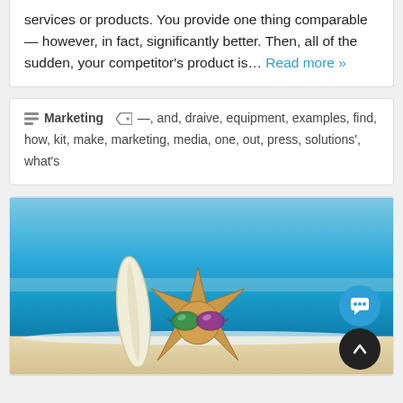services or products. You provide one thing comparable — however, in fact, significantly better. Then, all of the sudden, your competitor's product is… Read more »
Marketing — , and, draive, equipment, examples, find, how, kit, make, marketing, media, one, out, press, solutions', what's
[Figure (photo): Beach scene with a starfish wearing sunglasses next to a surfboard, with blue ocean and sky in background. Chat and scroll-to-top buttons overlaid in bottom right.]